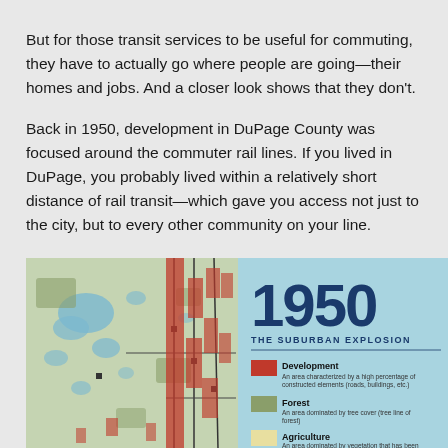But for those transit services to be useful for commuting, they have to actually go where people are going—their homes and jobs. And a closer look shows that they don't.
Back in 1950, development in DuPage County was focused around the commuter rail lines. If you lived in DuPage, you probably lived within a relatively short distance of rail transit—which gave you access not just to the city, but to every other community on your line.
[Figure (map): A 1950 map of DuPage County showing development (red), forest (olive/green), and agriculture (tan/beige) land use patterns. The map title reads '1950 THE SUBURBAN EXPLOSION' with a legend showing Development, Forest, and Agriculture categories. Development is shown as red areas clustered along rail lines on the right side of the map.]